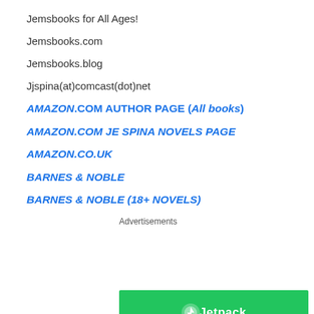Jemsbooks for All Ages!
Jemsbooks.com
Jemsbooks.blog
Jjspina(at)comcast(dot)net
AMAZON.COM AUTHOR PAGE (All books)
AMAZON.COM JE SPINA NOVELS PAGE
AMAZON.CO.UK
BARNES & NOBLE
BARNES & NOBLE (18+ NOVELS)
Advertisements
[Figure (illustration): Jetpack advertisement banner with green background and Jetpack logo with text]